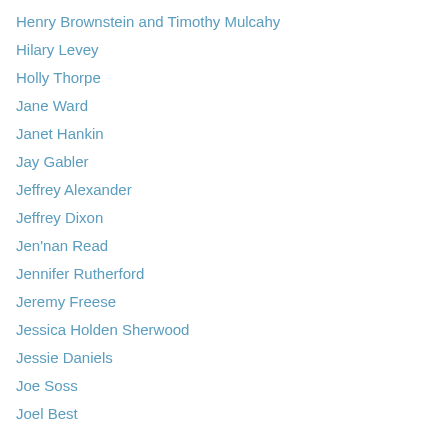Henry Brownstein and Timothy Mulcahy
Hilary Levey
Holly Thorpe
Jane Ward
Janet Hankin
Jay Gabler
Jeffrey Alexander
Jeffrey Dixon
Jen'nan Read
Jennifer Rutherford
Jeremy Freese
Jessica Holden Sherwood
Jessie Danielels
Joe Soss
Joel Best